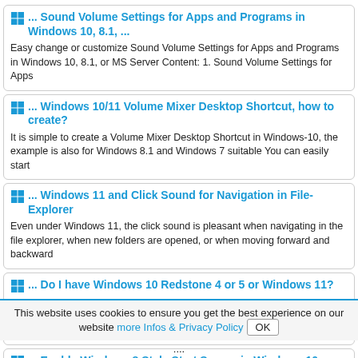... Sound Volume Settings for Apps and Programs in Windows 10, 8.1, ...
Easy change or customize Sound Volume Settings for Apps and Programs in Windows 10, 8.1, or MS Server Content: 1. Sound Volume Settings for Apps
... Windows 10/11 Volume Mixer Desktop Shortcut, how to create?
It is simple to create a Volume Mixer Desktop Shortcut in Windows-10, the example is also for Windows 8.1 and Windows 7 suitable You can easily start
... Windows 11 and Click Sound for Navigation in File-Explorer
Even under Windows 11, the click sound is pleasant when navigating in the file explorer, when new folders are opened, or when moving forward and backward
... Do I have Windows 10 Redstone 4 or 5 or Windows 11?
The last version of Windows 10 Redstone 4, also known as Creators April 2018 Update, is recognizable in the system as a version number Preface to Redstone
... Enable Windows 8 Style Start Screen in Windows 10
The solution to enable the MS Windows 8 style Start Screen Menu in
This website uses cookies to ensure you get the best experience on our website more Infos & Privacy Policy OK
....